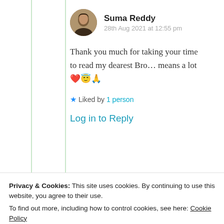Suma Reddy
28th Aug 2021 at 12:55 pm
Thank you much for taking your time to read my dearest Bro… means a lot ❤️😇🙏
★ Liked by 1 person
Log in to Reply
Privacy & Cookies: This site uses cookies. By continuing to use this website, you agree to their use.
To find out more, including how to control cookies, see here: Cookie Policy
Close and accept